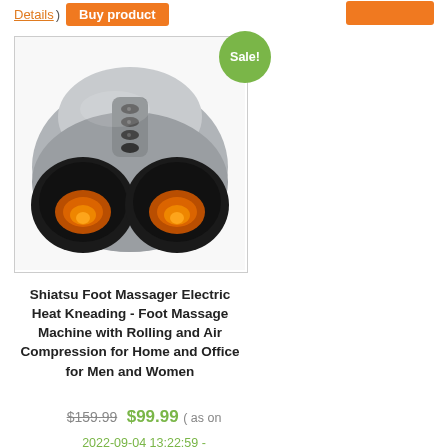Details ) Buy product
[Figure (photo): Shiatsu foot massager machine in silver and black, shown from above, with two foot cavities with orange heating elements. A green 'Sale!' badge overlaps the top-right corner of the product image.]
Shiatsu Foot Massager Electric Heat Kneading - Foot Massage Machine with Rolling and Air Compression for Home and Office for Men and Women
$159.99 $99.99 ( as on 2022-09-04 13:22:59 -